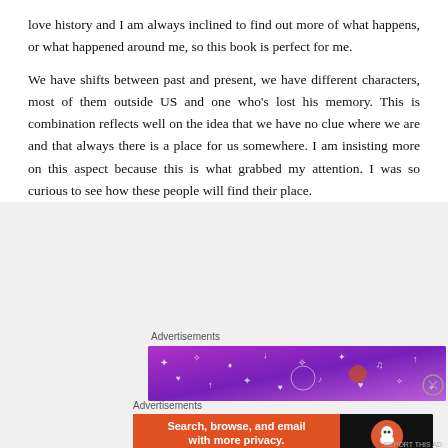love history and I am always inclined to find out more of what happens, or what happened around me, so this book is perfect for me.
We have shifts between past and present, we have different characters, most of them outside US and one who's lost his memory. This is combination reflects well on the idea that we have no clue where we are and that always there is a place for us somewhere. I am insisting more on this aspect because this is what grabbed my attention. I was so curious to see how these people will find their place.
Advertisements
[Figure (illustration): Purple/violet gradient advertisement banner with white doodle illustrations including stars, hearts, arrows, musical notes, and other decorative elements]
Advertisements
[Figure (illustration): DuckDuckGo advertisement banner: orange-red left panel with text 'Search, browse, and email with more privacy. All in One Free App'; black right panel with DuckDuckGo duck logo and brand name]